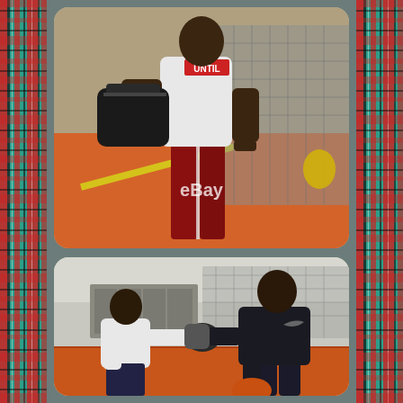[Figure (photo): Tartan plaid border on the left side of the page with red, green, black, and white pattern]
[Figure (photo): Tartan plaid border on the right side of the page with red, green, black, and white pattern]
[Figure (photo): Top photo: A tall basketball player in a white t-shirt with 'UNTIL' text and red shorts, holding a gym bag with an eBay watermark, standing on an orange court with chain-link fence in background]
[Figure (photo): Bottom photo: Two people in a gym/training facility, one shorter person in white shirt and dark shorts facing a taller person in a black Nike jacket, appearing to do boxing/MMA training with pads on an orange court]